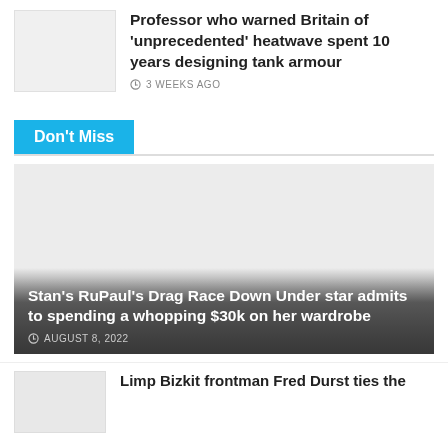[Figure (photo): Gray placeholder thumbnail image for article about professor]
Professor who warned Britain of 'unprecedented' heatwave spent 10 years designing tank armour
3 WEEKS AGO
Don't Miss
[Figure (photo): Large feature image placeholder with gray gradient background for RuPaul's Drag Race article]
Stan's RuPaul's Drag Race Down Under star admits to spending a whopping $30k on her wardrobe
AUGUST 8, 2022
[Figure (photo): Gray placeholder thumbnail image for Limp Bizkit article]
Limp Bizkit frontman Fred Durst ties the